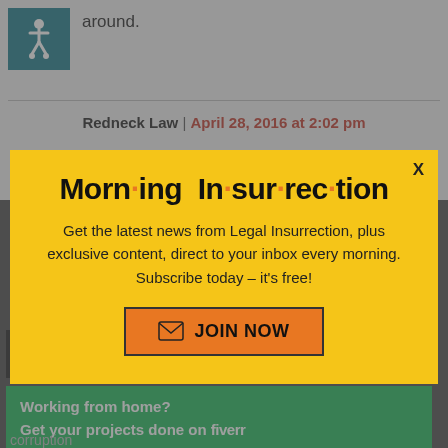around.
Redneck Law | April 28, 2016 at 2:02 pm
[Figure (other): Modal popup for Morning Insurrection newsletter subscription with yellow background, title 'Morn·ing In·sur·rec·tion', body text 'Get the latest news from Legal Insurrection, plus exclusive content, direct to your inbox every morning. Subscribe today – it's free!', and JOIN NOW button]
Thanks for adding the video. I hate it up. The good, the best, decent man,
Working from home? Get your projects done on fiverr
corruption